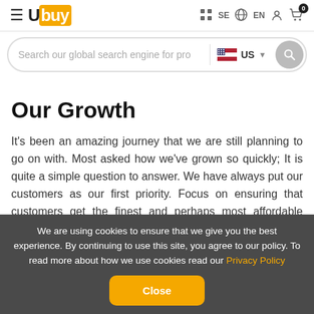Ubuy — SE | EN | Cart (0)
Search our global search engine for pro  US
Our Growth
It's been an amazing journey that we are still planning to go on with. Most asked how we've grown so quickly; It is quite a simple question to answer. We have always put our customers as our first priority. Focus on ensuring that customers get the finest and perhaps most affordable products on the market. We
We are using cookies to ensure that we give you the best experience. By continuing to use this site, you agree to our policy. To read more about how we use cookies read our Privacy Policy  Close